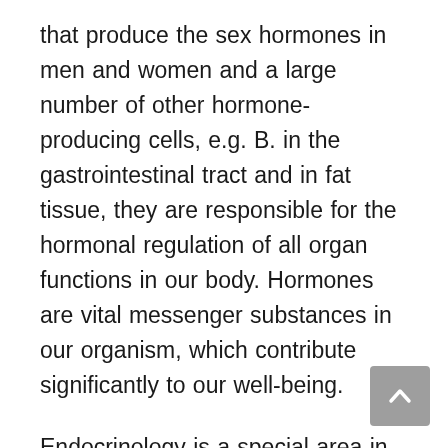that produce the sex hormones in men and women and a large number of other hormone-producing cells, e.g. B. in the gastrointestinal tract and in fat tissue, they are responsible for the hormonal regulation of all organ functions in our body. Hormones are vital messenger substances in our organism, which contribute significantly to our well-being.
Endocrinology is a special area in the field of internal medicine. The term “endocrine” stands for the release of hormones in the human body. It is therefore clear what endocrinologists deal with: Their specialty is the hormonal components and the organs that can produce